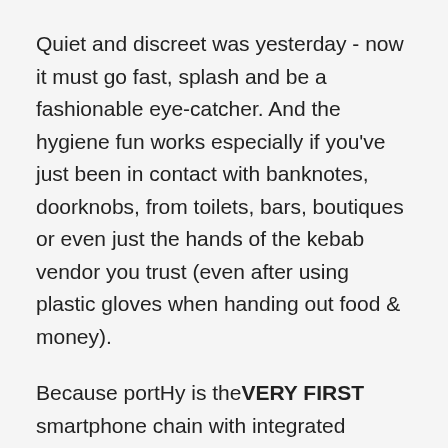Quiet and discreet was yesterday - now it must go fast, splash and be a fashionable eye-catcher. And the hygiene fun works especially if you've just been in contact with banknotes, doorknobs, from toilets, bars, boutiques or even just the hands of the kebab vendor you trust (even after using plastic gloves when handing out food & money).
Because portHy is the VERY FIRST smartphone chain with integrated disinfectant dispenser. The 35 ml filling volume are loosely enough to disinfect an